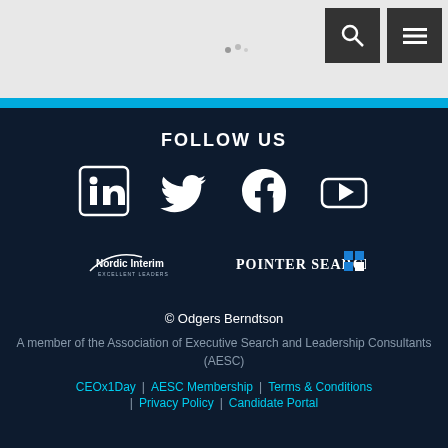[Figure (screenshot): Website header area with grey background, loading spinner/dots, and two dark icon buttons (search and hamburger menu) in the top right corner]
FOLLOW US
[Figure (infographic): Four social media icons in a row: LinkedIn, Twitter, Facebook, YouTube — white icons on dark navy background]
[Figure (logo): Nordic Interim logo (white text with arc swoosh) and Pointer Search logo (white text with blue grid icon)]
© Odgers Berndtson
A member of the Association of Executive Search and Leadership Consultants (AESC)
CEOx1Day  |  AESC Membership  |  Terms & Conditions  |  Privacy Policy  |  Candidate Portal